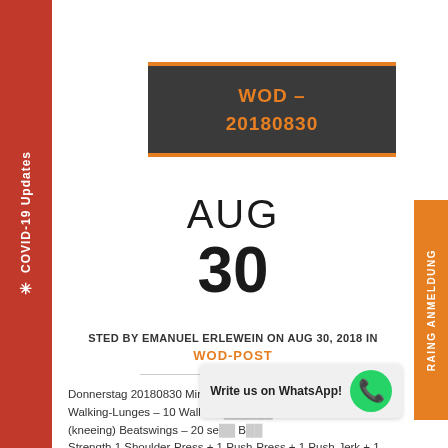WOD – 20180830
AUG 30
POSTED BY EMANUEL ERLEWEIN ON AUG 30, 2018 IN WOD-POST
Donnerstag 20180830 Mira / Julian Warm-Up 2 rds – 10 MedBall Walking-Lunges – 10 Wall-Ball (kneeing) Beatswings – 20 se... Strength 1 Shoulder-Press + 1 Push-Press + 1 Push-Jerk + 1 Split-Je...